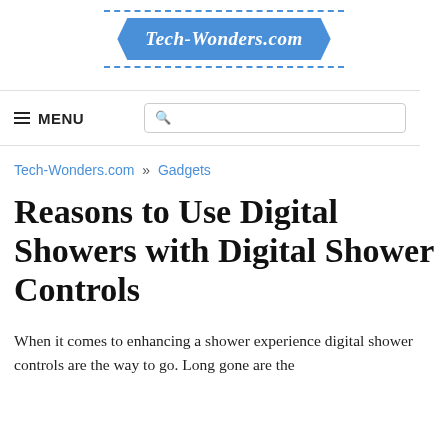Tech-Wonders.com
≡ MENU
Tech-Wonders.com » Gadgets
Reasons to Use Digital Showers with Digital Shower Controls
When it comes to enhancing a shower experience digital shower controls are the way to go. Long gone are the